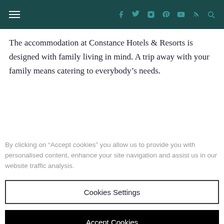Navigation header with hamburger menu and social icons (Facebook, Twitter, Instagram, Pinterest, YouTube, RSS, Search)
The accommodation at Constance Hotels & Resorts is designed with family living in mind. A trip away with your family means catering to everybody’s needs.
By clicking on “Accept cookies” you allow us to provide you with personalised content, enhance your site navigation and assist us in our website traffic analysis.
Cookies Settings
Accept Cookies